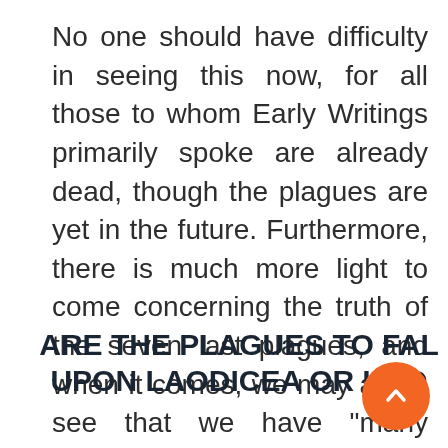No one should have difficulty in seeing this now, for all those to whom Early Writings primarily spoke are already dead, though the plagues are yet in the future. Furthermore, there is much more light to come concerning the truth of the seven last plagues, and when it comes, we may again see that we have "many lessons to learn, and many, many to unlearn."--Testimonies to Ministers, p. 30.
ARE THE PLAGUES TO FALL UPON LAODICEA OR UPON BABYLONS?